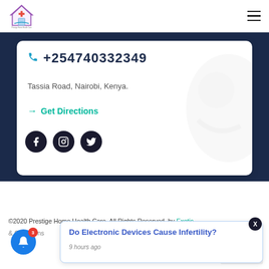[Figure (logo): Prestige Home Health Care logo with house and medical cross icon]
+254740332349
Tassia Road, Nairobi, Kenya.
→ Get Directions
[Figure (illustration): Three social media icons: Facebook, Instagram, Twitter on dark circles]
©2020 Prestige Home Health Care, All Rights Reserved. by Exotic
& Conditions
Do Electronic Devices Cause Infertility?
9 hours ago
[Figure (other): Close button X on dark circle]
[Figure (other): Blue bell notification button with red badge showing 3]
Privacy · Terms